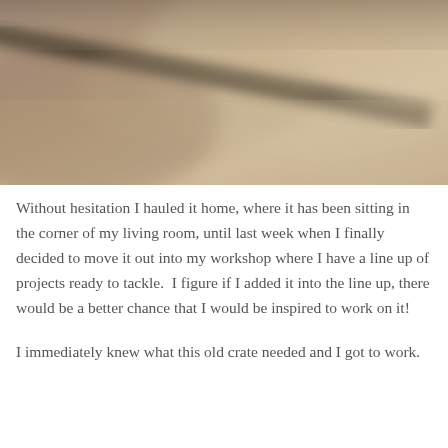[Figure (photo): Close-up blurry photo with warm brownish-gray tones, showing what appears to be a wooden surface or crate with a dark diagonal line or edge across the upper portion. Soft focus with muted earthy colors.]
Without hesitation I hauled it home, where it has been sitting in the corner of my living room, until last week when I finally decided to move it out into my workshop where I have a line up of projects ready to tackle.  I figure if I added it into the line up, there would be a better chance that I would be inspired to work on it!
I immediately knew what this old crate needed and I got to work.